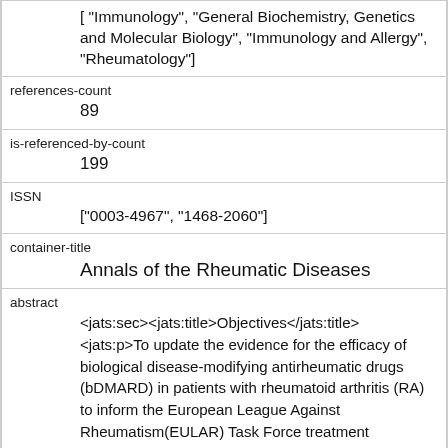[ "Immunology", "General Biochemistry, Genetics and Molecular Biology", "Immunology and Allergy", "Rheumatology"]
references-count
89
is-referenced-by-count
199
ISSN
["0003-4967", "1468-2060"]
container-title
Annals of the Rheumatic Diseases
abstract
<jats:sec><jats:title>Objectives</jats:title><jats:p>To update the evidence for the efficacy of biological disease-modifying antirheumatic drugs (bDMARD) in patients with rheumatoid arthritis (RA) to inform the European League Against Rheumatism(EULAR) Task Force treatment recommendations.</jats:p></jats:sec><jats:sec><jats:title>Methods</jats:title><jats:p>Medline,